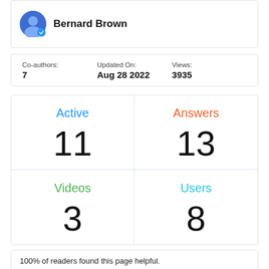Bernard Brown
| Co-authors: | Updated On: | Views: |
| --- | --- | --- |
| 7 | Aug 28 2022 | 3935 |
Active 11
Answers 13
Videos 3
Users 8
100% of readers found this page helpful.
4/5